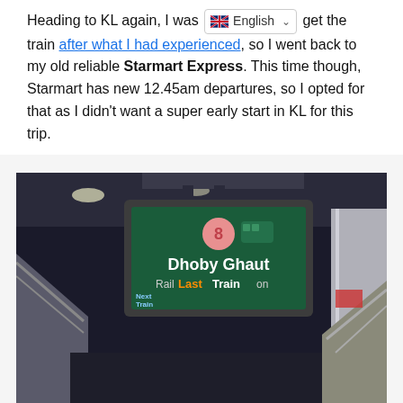Heading to KL again, I was [English language selector] get the train after what I had experienced, so I went back to my old reliable Starmart Express. This time though, Starmart has new 12.45am departures, so I opted for that as I didn't want a super early start in KL for this trip.
[Figure (photo): Indoor photo of a transit information display screen mounted from the ceiling above an escalator in what appears to be a MRT/subway station. The screen shows 'Dhoby Ghaut' as the next station with a pink circle containing the number 8, and text reading 'Last Train' in orange/red. Below it reads 'Next Train Rail ... on'. The station has modern lighting and metallic escalator railings visible.]